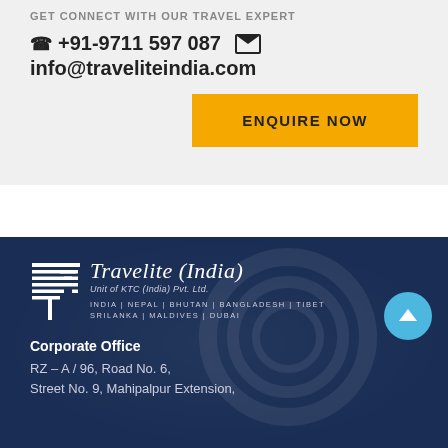GET CONNECT WITH OUR TRAVEL EXPERT
☎ +91-9711 597 087  ✉  info@traveliteindia.com
ENQUIRE NOW
[Figure (logo): Travelite (India) logo with stylized T icon, subtitle 'Unit of KTC (India) Pvt. Ltd.', countries: India | Nepal | Bhutan | Bangladesh | Tibet | Srilanka | Maldives | Dubai]
Corporate Office
RZ – A / 96, Road No. 6, Street No. 9, Mahipalpur Extension,